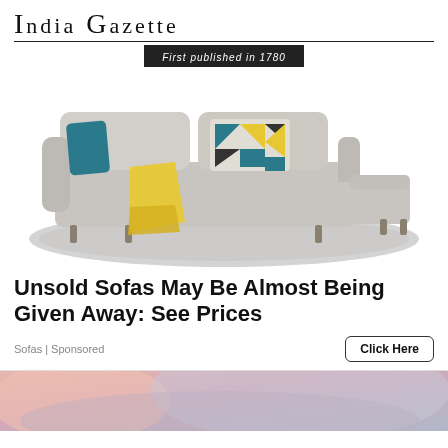India Gazette — First published in 1780
[Figure (photo): A modern grey sectional sofa with chaise lounge, decorated with a teal/blue pillow and a geometric patterned pillow, with a yellow throw blanket draped over one side, sitting on a round grey rug. White background.]
Unsold Sofas May Be Almost Being Given Away: See Prices
Sofas | Sponsored
Click Here
[Figure (photo): Partial bottom image, close-up blurred photo with pink and grey tones, cropped at the bottom of the page.]